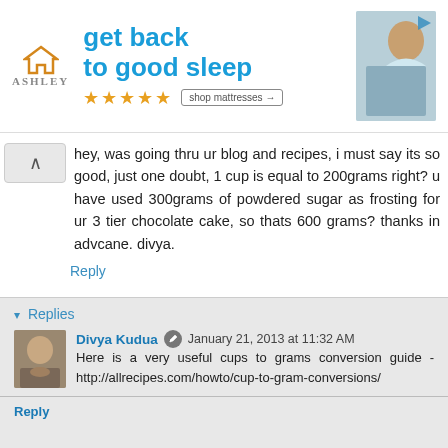[Figure (other): Ashley Furniture advertisement banner: 'get back to good sleep' with 5-star rating and 'shop mattresses' CTA button, showing a woman relaxing on a bed]
hey, was going thru ur blog and recipes, i must say its so good, just one doubt, 1 cup is equal to 200grams right? u have used 300grams of powdered sugar as frosting for ur 3 tier chocolate cake, so thats 600 grams? thanks in advcane. divya.
Reply
Replies
Divya Kudua  January 21, 2013 at 11:32 AM
Here is a very useful cups to grams conversion guide - http://allrecipes.com/howto/cup-to-gram-conversions/
Reply